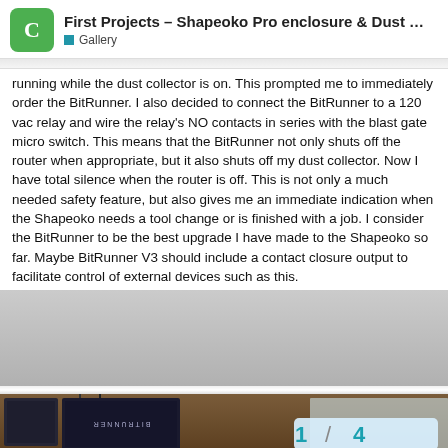First Projects – Shapeoko Pro enclosure & Dust ... Gallery
running while the dust collector is on. This prompted me to immediately order the BitRunner. I also decided to connect the BitRunner to a 120 vac relay and wire the relay's NO contacts in series with the blast gate micro switch. This means that the BitRunner not only shuts off the router when appropriate, but it also shuts off my dust collector. Now I have total silence when the router is off. This is not only a much needed safety feature, but also gives me an immediate indication when the Shapeoko needs a tool change or is finished with a job. I consider the BitRunner to be the best upgrade I have made to the Shapeoko so far. Maybe BitRunner V3 should include a contact closure output to facilitate control of external devices such as this.
[Figure (photo): Photo of a shelf or enclosure area showing a BitRunner device box and other electronics items mounted or placed on a wooden shelf, with a light gray background above and a counter badge showing '1 / 4' in the bottom right corner.]